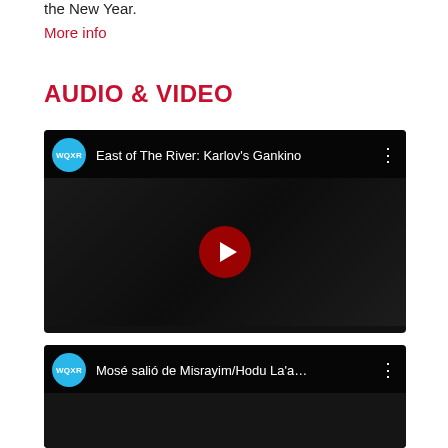the New Year.
More info
AUDIO & VIDEO
[Figure (screenshot): YouTube-style embedded video player showing WQXR channel with title 'East of The River: Karlov's Gankino', dark video frame showing musician playing violin, red play button overlay, three-dot menu icon]
[Figure (screenshot): YouTube-style embedded video player showing WQXR channel with title 'Mosé salió de Misrayim/Hodu La'a...', dark video frame, three-dot menu icon]